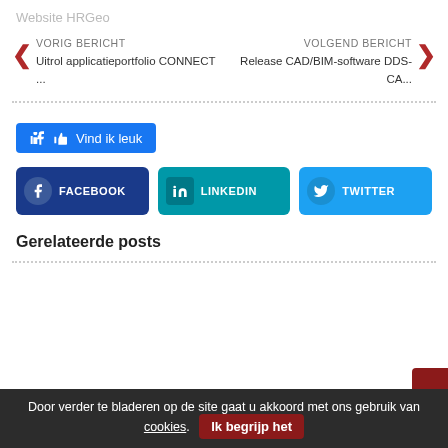Website HRGeo
VORIG BERICHT
Uitrol applicatieportfolio CONNECT ...
VOLGEND BERICHT
Release CAD/BIM-software DDS-CA...
Vind ik leuk
FACEBOOK
LINKEDIN
TWITTER
Gerelateerde posts
Door verder te bladeren op de site gaat u akkoord met ons gebruik van cookies. Ik begrijp het